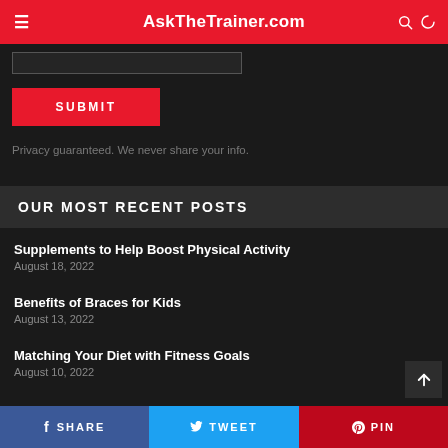AskTheTrainer.com
SUBMIT
Privacy guaranteed. We never share your info.
OUR MOST RECENT POSTS
Supplements to Help Boost Physical Activity
August 18, 2022
Benefits of Braces for Kids
August 13, 2022
Matching Your Diet with Fitness Goals
August 10, 2022
SHARE   TWEET   PIN